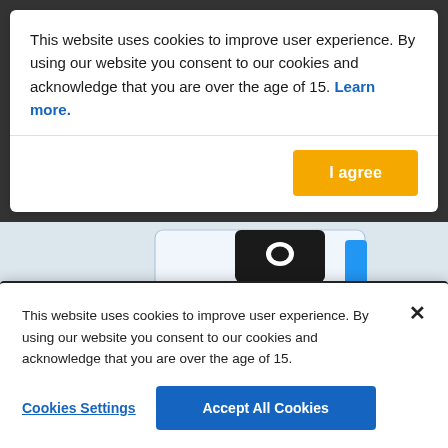This website uses cookies to improve user experience. By using our website you consent to our cookies and acknowledge that you are over the age of 15. Learn more.
[Figure (screenshot): BodyGuardz product packaging — white card box with black hang-tab at top, 'BODYGUARDZ' text in dark letters, blue stripe on right side, transparent screen protectors visible]
This website uses cookies to improve user experience. By using our website you consent to our cookies and acknowledge that you are over the age of 15.